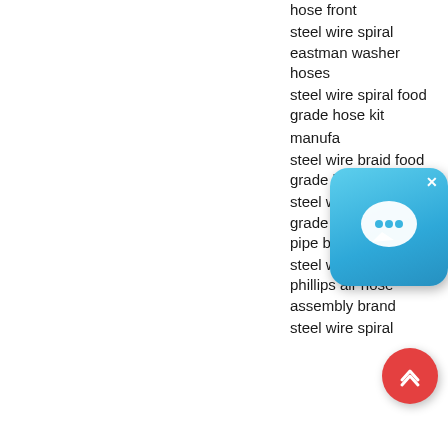hose front
steel wire spiral eastman washer hoses
steel wire spiral food grade hose kit
manufa... steel wire braid food grade hose and reel
steel wire spiral food grade flexible hose pipe brand
steel wire spiral phillips air hose assembly brand
steel wire spiral...